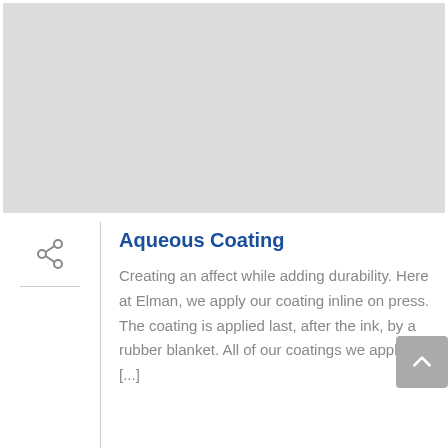[Figure (photo): Gray placeholder image area at the top of the page]
Aqueous Coating
Creating an affect while adding durability. Here at Elman, we apply our coating inline on press. The coating is applied last, after the ink, by a rubber blanket. All of our coatings we apply are [...]